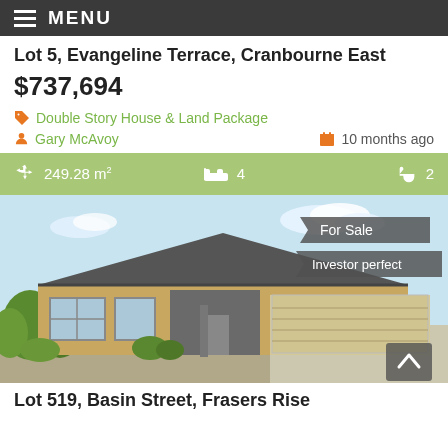MENU
Lot 5, Evangeline Terrace, Cranbourne East
$737,694
Double Story House & Land Package
Gary McAvoy
10 months ago
249.28 m²   4   2
[Figure (photo): Front elevation render of a single-storey brick house with tiled roof and double garage. Tags: For Sale, Investor perfect.]
Lot 519, Basin Street, Frasers Rise